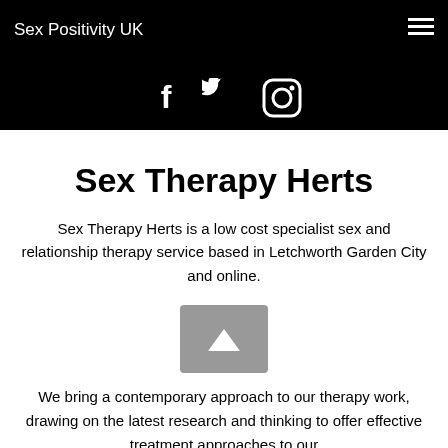Sex Positivity UK
[Figure (illustration): Social media icons: Facebook (f), Twitter (bird), Instagram (camera) in white on black background]
Sex Therapy Herts
Sex Therapy Herts is a low cost specialist sex and relationship therapy service based in Letchworth Garden City and online.
We bring a contemporary approach to our therapy work, drawing on the latest research and thinking to offer effective treatment approaches to our